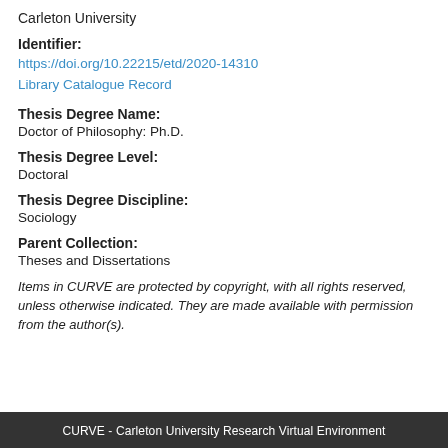Carleton University
Identifier:
https://doi.org/10.22215/etd/2020-14310
Library Catalogue Record
Thesis Degree Name:
Doctor of Philosophy: Ph.D.
Thesis Degree Level:
Doctoral
Thesis Degree Discipline:
Sociology
Parent Collection:
Theses and Dissertations
Items in CURVE are protected by copyright, with all rights reserved, unless otherwise indicated. They are made available with permission from the author(s).
CURVE - Carleton University Research Virtual Environment